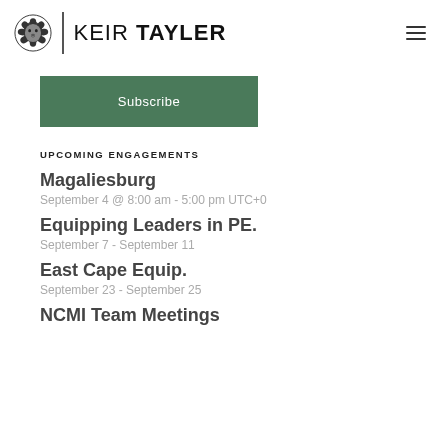KEIR TAYLER
[Figure (logo): Keir Tayler logo with lion icon and brand name]
Subscribe
UPCOMING ENGAGEMENTS
Magaliesburg
September 4 @ 8:00 am - 5:00 pm UTC+0
Equipping Leaders in PE.
September 7 - September 11
East Cape Equip.
September 23 - September 25
NCMI Team Meetings